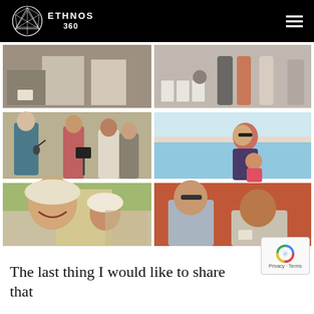ETHNOS 360
[Figure (photo): Six event photos arranged in a 2x3 grid: people at a registration table, people standing in a hall, a man speaking into a microphone with singers and guitarist, a woman and child in a swimming pool, a selfie of smiling women at an outdoor gathering, and two men talking in front of a terracotta wall.]
The last thing I would like to share that